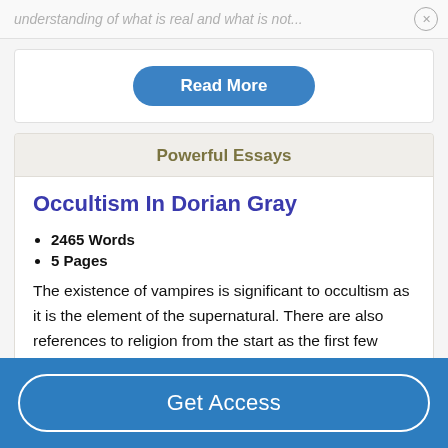understanding of what is real and what is not...
Read More
Powerful Essays
Occultism In Dorian Gray
2465 Words
5 Pages
The existence of vampires is significant to occultism as it is the element of the supernatural. There are also references to religion from the start as the first few chapters of
Get Access